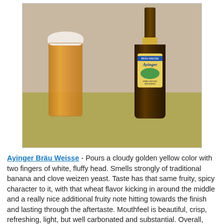[Figure (photo): A glass of cloudy golden Ayinger Bräu Weisse beer with thick white foam head, next to a dark brown Ayinger bottle with yellow label, both sitting on a yellow-green table surface against a beige wall background.]
Ayinger Bräu Weisse - Pours a cloudy golden yellow color with two fingers of white, fluffy head. Smells strongly of traditional banana and clove weizen yeast. Taste has that same fruity, spicy character to it, with that wheat flavor kicking in around the middle and a really nice additional fruity note hitting towards the finish and lasting through the aftertaste. Mouthfeel is beautiful, crisp, refreshing, light, but well carbonated and substantial. Overall, one of the better